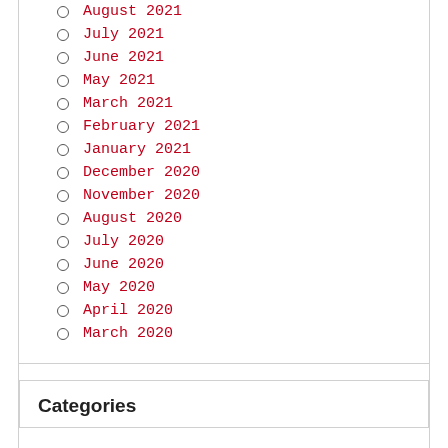August 2021
July 2021
June 2021
May 2021
March 2021
February 2021
January 2021
December 2020
November 2020
August 2020
July 2020
June 2020
May 2020
April 2020
March 2020
Categories